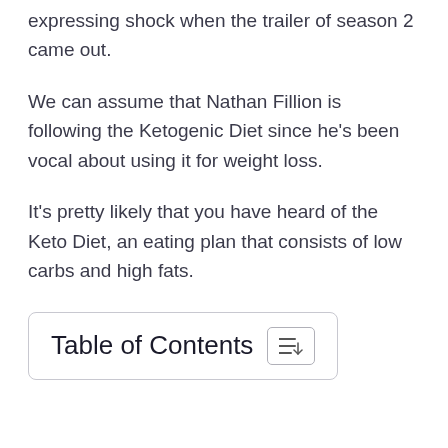expressing shock when the trailer of season 2 came out.
We can assume that Nathan Fillion is following the Ketogenic Diet since he’s been vocal about using it for weight loss.
It’s pretty likely that you have heard of the Keto Diet, an eating plan that consists of low carbs and high fats.
Table of Contents